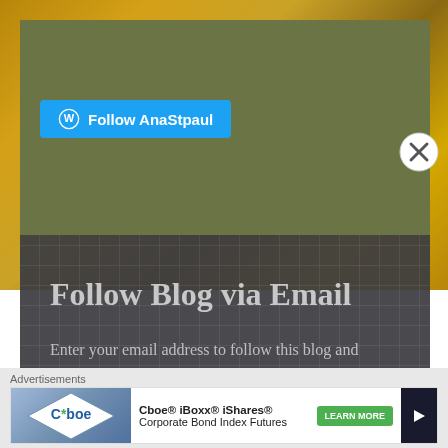[Figure (screenshot): Olive green panel with WordPress Follow AnaStpaul button on gold background]
Follow Blog via Email
Enter your email address to follow this blog and receive notifications of new posts by email.
Enter your email address
Advertisements
[Figure (screenshot): Cboe iBoxx iShares Corporate Bond Index Futures advertisement banner with Learn More button]